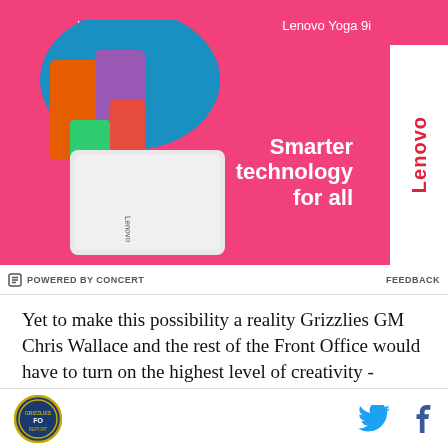[Figure (photo): Lenovo advertisement banner. Pink/magenta background with a person holding a white laptop wearing colorful clothing. Text: 'Lenovo Slim 7i', 'Lenovo Yoga 9i', 'Smarter technology for all'. White Lenovo logo badge on right side.]
POWERED BY CONCERT   FEEDBACK
Yet to make this possibility a reality Grizzlies GM Chris Wallace and the rest of the Front Office would have to turn on the highest level of creativity - Oklahoma City are packed with front court players, thus eliminating the slightest amount of interest in most of the youngsters that the Grizzlies have at their disposal, and have no
[Figure (logo): Site logo (circular badge) on left and Twitter and Facebook social icons on right in footer bar.]